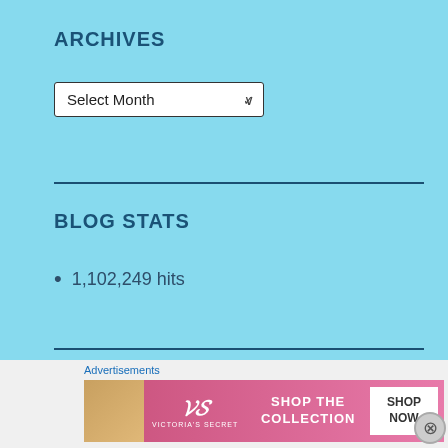ARCHIVES
Select Month
BLOG STATS
1,102,249 hits
CATEGORIES
Advertisements
[Figure (photo): Victoria's Secret advertisement banner showing a woman's face on the left, VS logo, and 'SHOP THE COLLECTION' text with a 'SHOP NOW' button]